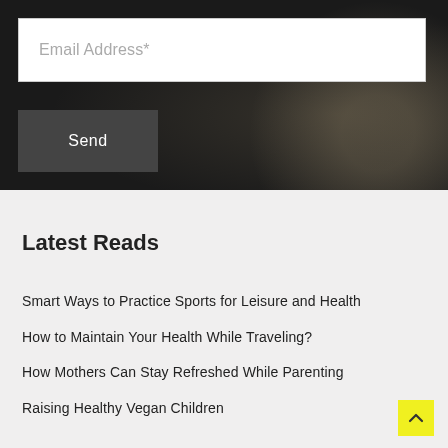[Figure (screenshot): Dark background section with food imagery (bowl of salad visible at right), containing an email input field and Send button]
Email Address*
Send
Latest Reads
Smart Ways to Practice Sports for Leisure and Health
How to Maintain Your Health While Traveling?
How Mothers Can Stay Refreshed While Parenting
Raising Healthy Vegan Children